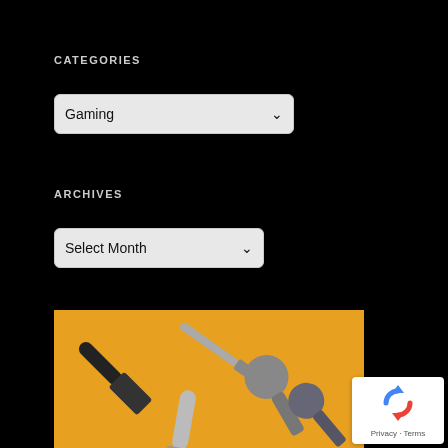CATEGORIES
Gaming ▾
ARCHIVES
Select Month ▾
[Figure (photo): Several microphones of different types arranged on a yellow/orange background — includes a handheld dynamic mic, a condenser mic, and other microphone types.]
[Figure (other): Google reCAPTCHA badge showing the reCAPTCHA logo with Privacy and Terms links.]